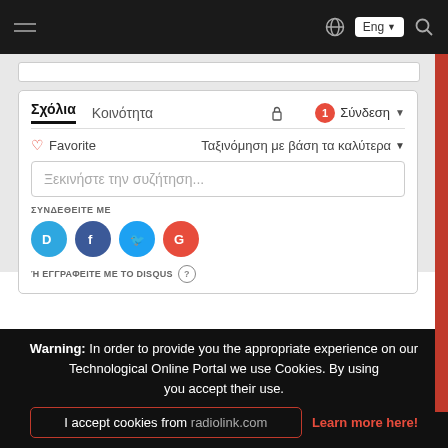Navigation bar with hamburger menu, globe, Eng language selector, and search icon
Σχόλια  Κοινότητα  🔒  1  Σύνδεση
♡ Favorite   Ταξινόμηση με βάση τα καλύτερα
Ξεκινήστε την συζήτηση...
ΣΥΝΔΕΘΕΙΤΕ ΜΕ
[Figure (infographic): Four social login circles: Disqus (blue), Facebook (dark blue), Twitter (light blue), Google (red)]
Ή ΕΓΓΡΑΦΕΙΤΕ ΜΕ ΤΟ DISQUS ?
Warning: In order to provide you the appropriate experience on our Technological Online Portal we use Cookies. By using you accept their use.
I accept cookies from radiolink.com    Learn more here!